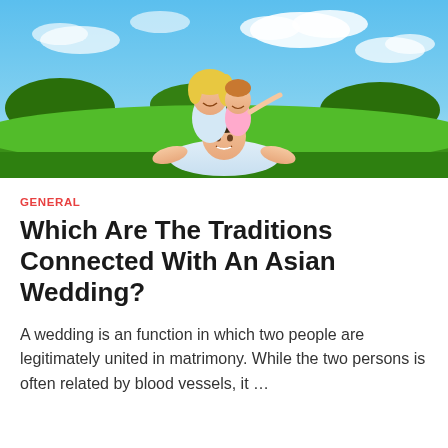[Figure (photo): A family of three — a man lying on grass, a woman behind him, and a young girl on top — smiling outdoors on a bright sunny day with green grass and blue sky with clouds in the background.]
GENERAL
Which Are The Traditions Connected With An Asian Wedding?
A wedding is an function in which two people are legitimately united in matrimony. While the two persons is often related by blood vessels, it …